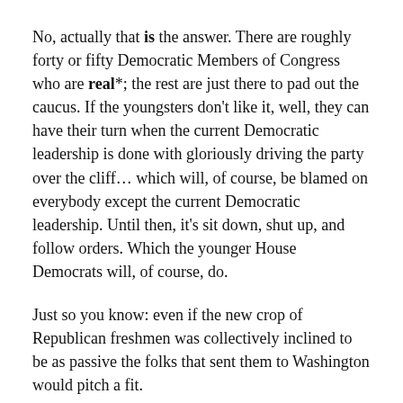No, actually that is the answer.  There are roughly forty or fifty Democratic Members of Congress who are real*; the rest are just there to pad out the caucus.  If the youngsters don't like it, well, they can have their turn when the current Democratic leadership is done with gloriously driving the party over the cliff… which will, of course, be blamed on everybody except the current Democratic leadership.  Until then, it's sit down, shut up, and follow orders.  Which the younger House Democrats will, of course, do.
Just so you know: even if the new crop of Republican freshmen was collectively inclined to be as passive the folks that sent them to Washington would pitch a fit.
Moe Lane